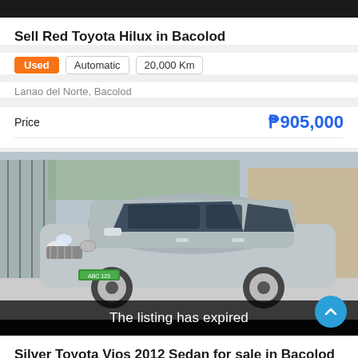Sell Red Toyota Hilux in Bacolod
Used | Automatic | 20,000 Km
Lanao del Norte, Bacolod
Price  ₱905,000
[Figure (photo): Silver Toyota Vios sedan parked outdoors, front-side angle view, with gate and building in background]
The listing has expired
Silver Toyota Vios 2012 Sedan for sale in Bacolod